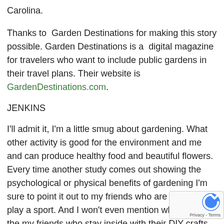Carolina.
Thanks to  Garden Destinations for making this story possible. Garden Destinations is a  digital magazine for travelers who want to include public gardens in their travel plans. Their website is GardenDestinations.com.
JENKINS
I'll admit it, I'm a little smug about gardening. What other activity is good for the environment and me and can produce healthy food and beautiful flowers. Every time another study comes out showing the psychological or physical benefits of gardening I'm sure to point it out to my friends who are runners or play a sport. And I won't even mention what I do to the my friends who stay inside with their DIY crafts and projects.
But its a bit of a lie. Gardening can be really danger... and I've had my share of cuts and scrapes. At a rece... event I asked some of my Master Gardener friends in